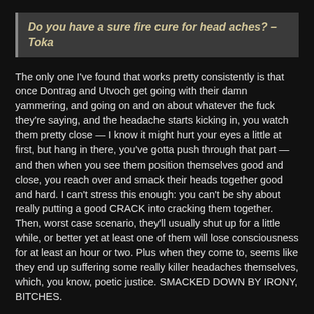Do you have a sure fire cure for head aches? –Toka
The only one I've found that works pretty consistently is that once Dontrag and Utvoch get going with their damn yammering, and going on and on about whatever the fuck they're saying, and the headache starts kicking in, you watch them pretty close — I know it might hurt your eyes a little at first, but hang in there, you've gotta push through that part — and then when you see them position themselves good and close, you reach over and smack their heads together good and hard. I can't stress this enough: you can't be shy about really putting a good CRACK into cracking them together. Then, worst case scenario, they'll usually shut up for a little while, or better yet at least one of them will lose consciousness for at least an hour or two. Plus when they come to, seems like they end up suffering some really killer headaches themselves, which, you know, poetic justice. SMACKED DOWN BY IRONY, BITCHES.
Of course, if your particular headaches aren't D&U related, I don't know what to tell you. <shrug>